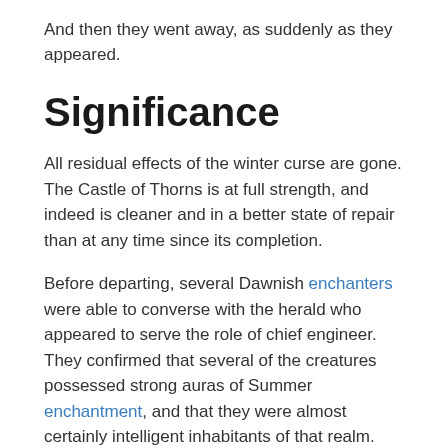And then they went away, as suddenly as they appeared.
Significance
All residual effects of the winter curse are gone. The Castle of Thorns is at full strength, and indeed is cleaner and in a better state of repair than at any time since its completion.
Before departing, several Dawnish enchanters were able to converse with the herald who appeared to serve the role of chief engineer. They confirmed that several of the creatures possessed strong auras of Summer enchantment, and that they were almost certainly intelligent inhabitants of that realm. Furthermore, from their discussion, it was clear that the eternal they claimed to represent - this King Adamant - had hitherto had little interest in the Empire. Now that his attention had been